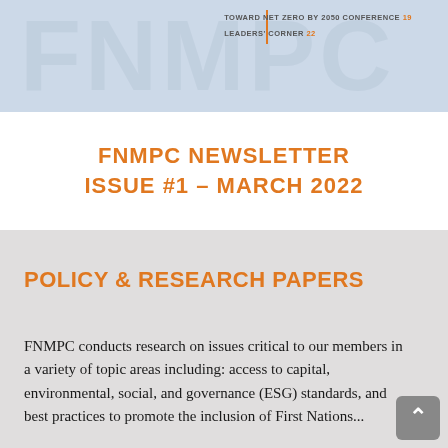[Figure (illustration): Light blue banner with watermark/ghosted text and two lines of navigation text: 'TOWARD NET ZERO BY 2050 CONFERENCE 19' and 'LEADERS' CORNER 22' with an orange vertical divider]
FNMPC NEWSLETTER
ISSUE #1 – MARCH 2022
POLICY & RESEARCH PAPERS
FNMPC conducts research on issues critical to our members in a variety of topic areas including: access to capital, environmental, social, and governance (ESG) standards, and best practices to promote the inclusion of First Nations...